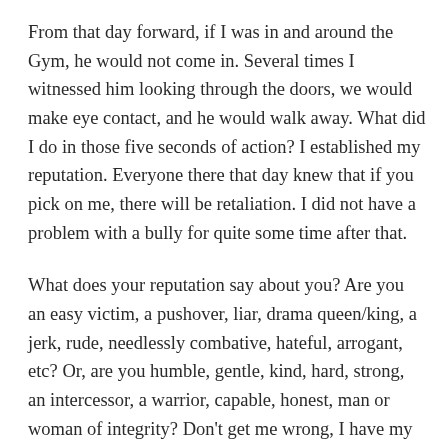From that day forward, if I was in and around the Gym, he would not come in. Several times I witnessed him looking through the doors, we would make eye contact, and he would walk away. What did I do in those five seconds of action? I established my reputation. Everyone there that day knew that if you pick on me, there will be retaliation. I did not have a problem with a bully for quite some time after that.
What does your reputation say about you? Are you an easy victim, a pushover, liar, drama queen/king, a jerk, rude, needlessly combative, hateful, arrogant, etc? Or, are you humble, gentle, kind, hard, strong, an intercessor, a warrior, capable, honest, man or woman of integrity? Don’t get me wrong, I have my moments; my wonderful wife can tell you that I can be a jerk at times. But, does that define me? I certainly hope not, nor is that the feedback I get from